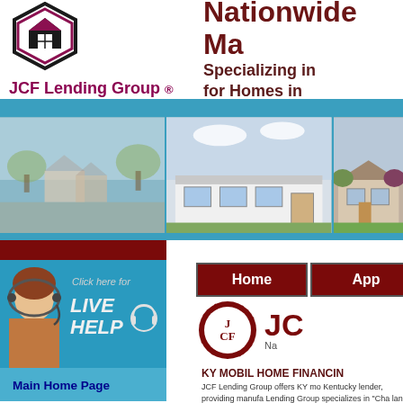[Figure (logo): JCF Lending Group logo with hexagonal house icon in black and dark red/maroon]
Nationwide Ma
Specializing in for Homes in
[Figure (photo): Three photos of manufactured/mobile homes in a horizontal strip]
[Figure (photo): Click here for LIVE HELP button with customer service person]
Main Home Page
Apply Here
Payment Calculator
Rates & Terms
Contact Us
[Figure (logo): JCF circular badge logo with J CF text and Na subtitle]
KY MOBIL HOME FINANCIN
JCF Lending Group offers KY mo Kentucky lender, providing manufa Lending Group specializes in "Cha land is not a factor and only th